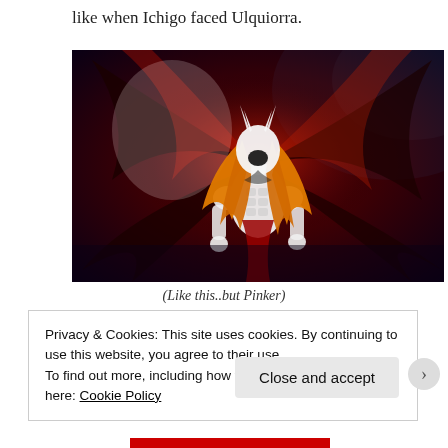like when Ichigo faced Ulquiorra.
[Figure (illustration): Anime illustration of a powerful character (Hollow Ichigo) in a dark, swirling red, black and blue background with orange hair and a white mask/horns, muscular white body.]
(Like this..but Pinker)
Privacy & Cookies: This site uses cookies. By continuing to use this website, you agree to their use.
To find out more, including how to control cookies, see here: Cookie Policy
Close and accept